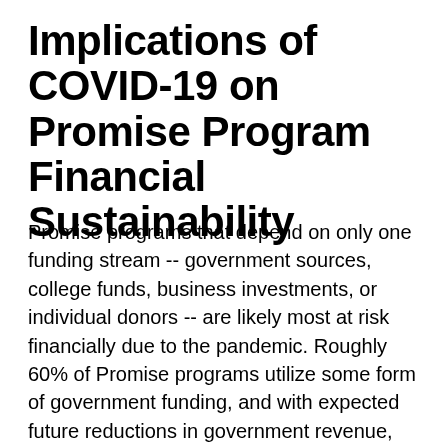Implications of COVID-19 on Promise Program Financial Sustainability
Promise programs that depend on only one funding stream -- government sources, college funds, business investments, or individual donors -- are likely most at risk financially due to the pandemic. Roughly 60% of Promise programs utilize some form of government funding, and with expected future reductions in government revenue, these programs will likely require program design changes or supplemental funding to sustain service quality. As economic shifts rearrange legislators' funding priorities, programs relying on the year-to-year allocations or appropriations of funds...